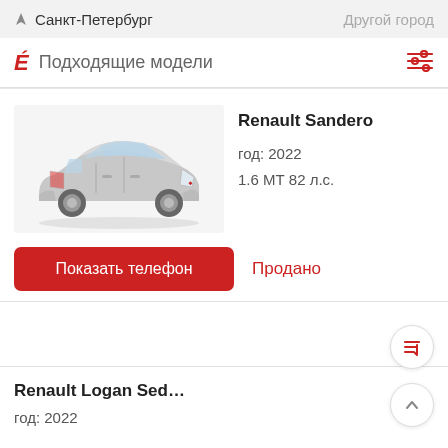Санкт-Петербург   Другой город
Подходящие модели
Renault Sandero
год: 2022
1.6 МТ 82 л.с.
[Figure (photo): Silver Renault Sandero hatchback, side-front view]
Показать телефон
Продано
Renault Logan Sed…
год: 2022